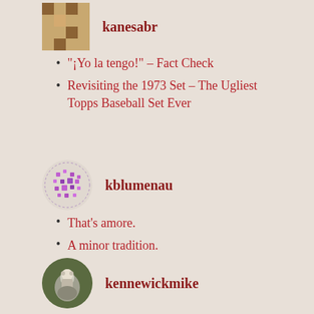[Figure (photo): Pixelated/avatar image for user kanesabr, square style]
kanesabr
“¡Yo la tengo!” – Fact Check
Revisiting the 1973 Set – The Ugliest Topps Baseball Set Ever
[Figure (illustration): Dotted/pixelated circular avatar for user kblumenau]
kblumenau
That’s amore.
A minor tradition.
[Figure (photo): Circular photo avatar for user kennewickmike showing a small figurine or snowman]
kennewickmike
Mabton Mel
Paper Route Money